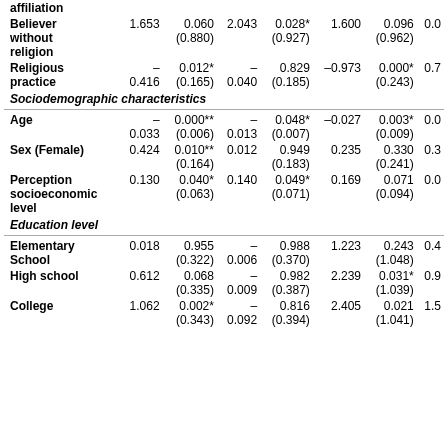| Variable | B1 | p1 | B2 | p2 | B3 | p3 | ... |
| --- | --- | --- | --- | --- | --- | --- | --- |
| affiliation |  |  |  |  |  |  |  |
| Believer without religion | 1.653 | 0.060 (0.880) | 2.043 | 0.028* (0.927) | 1.600 | 0.096 (0.962) | 0.0 |
| Religious practice | – 0.416 | 0.012* (0.165) | – 0.040 | 0.829 (0.185) | –0.973 | 0.000* (0.243) | 0.7 |
| Sociodemographic characteristics |  |  |  |  |  |  |  |
| Age | – 0.033 | 0.000** (0.006) | – 0.013 | 0.048* (0.007) | –0.027 | 0.003* (0.009) | 0.0 |
| Sex (Female) | 0.424 | 0.010** (0.164) | 0.012 | 0.949 (0.183) | 0.235 | 0.330 (0.241) | 0.3 |
| Perception socioeconomic level | 0.130 | 0.040* (0.063) | 0.140 | 0.049* (0.071) | 0.169 | 0.071 (0.094) | 0.0 |
| Education level |  |  |  |  |  |  |  |
| Elementary School | 0.018 | 0.955 (0.322) | – 0.006 | 0.988 (0.370) | 1.223 | 0.243 (1.048) | 0.4 |
| High school | 0.612 | 0.068 (0.335) | – 0.009 | 0.982 (0.387) | 2.239 | 0.031* (1.039) | 0.9 |
| College | 1.062 | 0.002* (0.343) | – 0.092 | 0.816 (0.394) | 2.405 | 0.021 (1.041) | 1.5 |